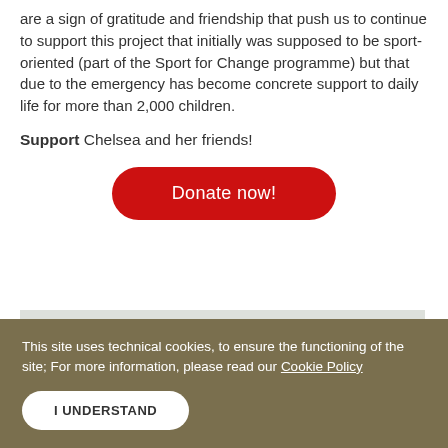are a sign of gratitude and friendship that push us to continue to support this project that initially was supposed to be sport-oriented (part of the Sport for Change programme) but that due to the emergency has become concrete support to daily life for more than 2,000 children.
Support Chelsea and her friends!
[Figure (other): Red rounded button with white text 'Donate now!']
[Figure (photo): Partial photo of trees against a grey sky]
This site uses technical cookies, to ensure the functioning of the site; For more information, please read our Cookie Policy
I UNDERSTAND